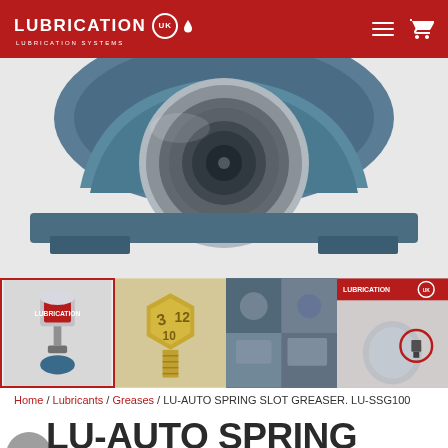LUBRICATION UK — LUBRICATION SYSTEMS
[Figure (photo): Close-up photo of a blue pillow block bearing housing showing the circular bearing insert from front view]
[Figure (photo): Thumbnail strip of four product images: (1) auto spring slot greaser unit with red label, selected with red border; (2) brass fitting/adjuster with engraved numbers 3, 12; (3) collage of lubrication equipment in industrial setting; (4) close-up of lubrication fitting with Lubrication UK branding and red circle highlight]
Home / Lubricants / Greases / LU-AUTO SPRING SLOT GREASER. LU-SSG100
LU-AUTO SPRING SLOT